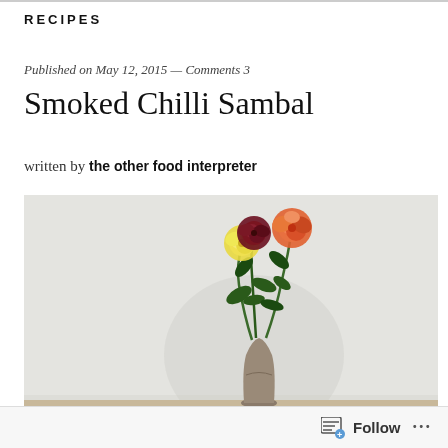RECIPES
Published on May 12, 2015 — Comments 3
Smoked Chilli Sambal
written by the other food interpreter
[Figure (photo): A vase with three roses (yellow, dark red, and orange-red) on a shelf against a light grey wall. Watermark reads 'the food interpreters'.]
Follow ...